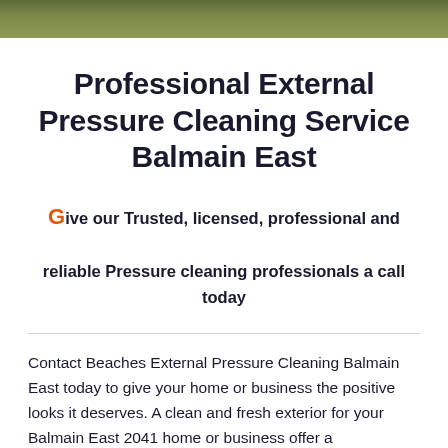[Figure (photo): Outdoor foliage/green landscape photo banner at the top of the page]
Professional External Pressure Cleaning Service Balmain East
Give our Trusted, licensed, professional and reliable Pressure cleaning professionals a call today
Contact Beaches External Pressure Cleaning Balmain East today to give your home or business the positive looks it deserves. A clean and fresh exterior for your Balmain East 2041 home or business offer a